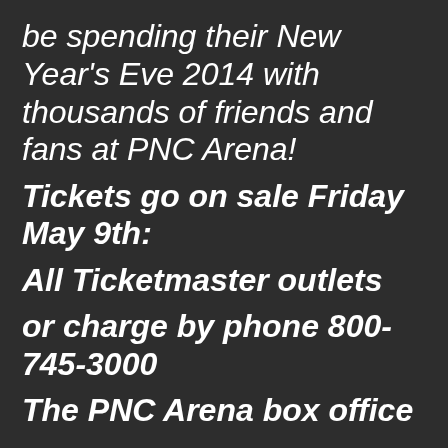be spending their New Year's Eve 2014 with thousands of friends and fans at PNC Arena!
Tickets go on sale Friday May 9th:
All Ticketmaster outlets
or charge by phone 800-745-3000
The PNC Arena box office